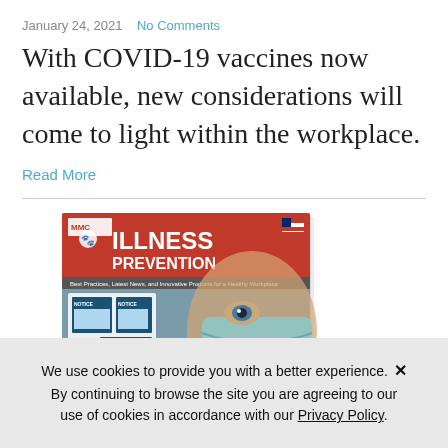January 24, 2021   No Comments
With COVID-19 vaccines now available, new considerations will come to light within the workplace.
Read More
[Figure (photo): Cover of an 'Illness Prevention' catalog/book showing a person wearing a face mask and various safety signs related to COVID-19 workplace health guidelines.]
We use cookies to provide you with a better experience. ✕ By continuing to browse the site you are agreeing to our use of cookies in accordance with our Privacy Policy.